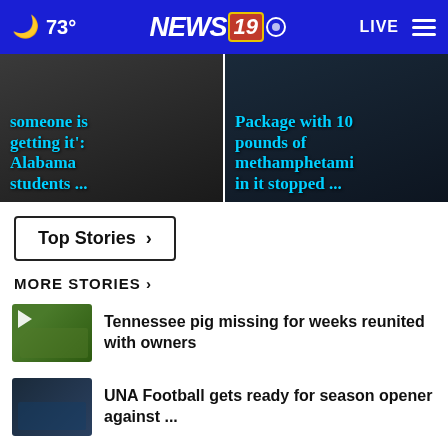73° NEWS 19 LIVE
[Figure (screenshot): Hero image left: 'someone is getting it': Alabama students ...']
[Figure (screenshot): Hero image right: 'Package with 10 pounds of methamphetamine in it stopped ...']
Top Stories >
MORE STORIES >
[Figure (photo): Thumbnail of a pig in grass]
Tennessee pig missing for weeks reunited with owners
[Figure (photo): Thumbnail of football players on field]
UNA Football gets ready for season opener against ...
[Figure (photo): Dark thumbnail with play icon]
Charges likely after Huntsville